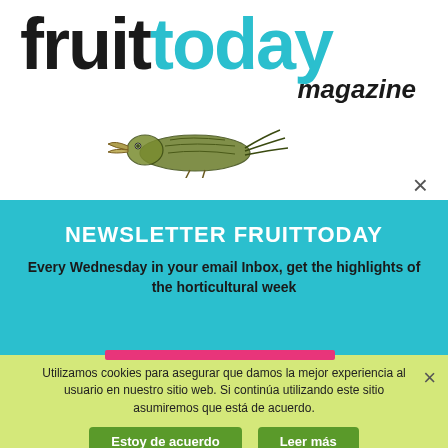[Figure (logo): Fruit Today Magazine logo with 'fruit' in black, 'today' in teal/cyan, and 'magazine' in italic black below]
[Figure (illustration): Hand-drawn sketch of what appears to be a bird or fruit illustration in olive/green tones]
×
NEWSLETTER FRUITTODAY
Every Wednesday in your email Inbox, get the highlights of the horticultural week
Utilizamos cookies para asegurar que damos la mejor experiencia al usuario en nuestro sitio web. Si continúa utilizando este sitio asumiremos que está de acuerdo.
Estoy de acuerdo
Leer más